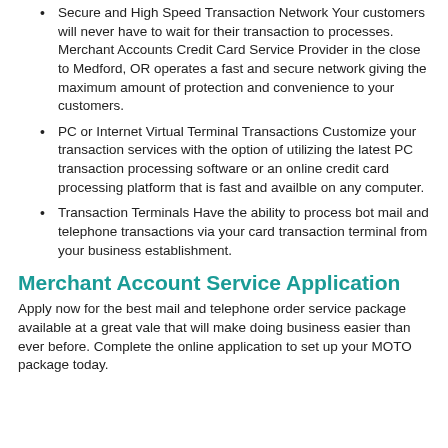Secure and High Speed Transaction Network Your customers will never have to wait for their transaction to processes. Merchant Accounts Credit Card Service Provider in the close to Medford, OR operates a fast and secure network giving the maximum amount of protection and convenience to your customers.
PC or Internet Virtual Terminal Transactions Customize your transaction services with the option of utilizing the latest PC transaction processing software or an online credit card processing platform that is fast and availble on any computer.
Transaction Terminals Have the ability to process bot mail and telephone transactions via your card transaction terminal from your business establishment.
Merchant Account Service Application
Apply now for the best mail and telephone order service package available at a great vale that will make doing business easier than ever before. Complete the online application to set up your MOTO package today.